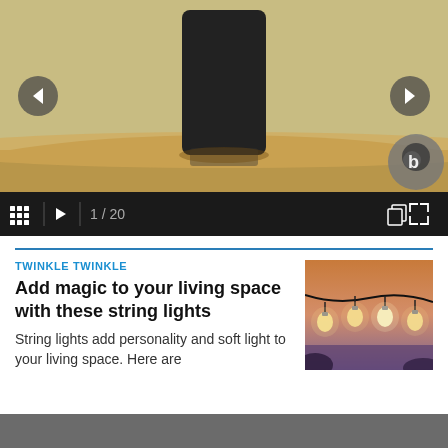[Figure (screenshot): Slideshow area showing a dark smart speaker device sitting on a wooden table, with gold/olive background. Navigation arrows on left and right sides, Bixby logo overlay bottom right.]
[Figure (screenshot): Dark toolbar with grid icon, play button, slide counter '1 / 20', and fullscreen/copy icons on the right.]
TWINKLE TWINKLE
Add magic to your living space with these string lights
String lights add personality and soft light to your living space. Here are
[Figure (photo): Photo of string lights (Edison bulbs on wire) hanging against a dusk/twilight sky.]